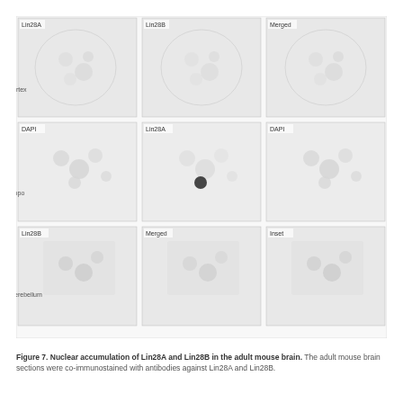[Figure (other): A scientific figure showing microscopy or imaging data arranged in a grid of panels, displaying cellular or biological structures with various staining or imaging modalities. The panels appear to show comparisons across conditions or time points.]
Figure 7. Nuclear accumulation of Lin28A and Lin28B in the adult mouse brain. The adult mouse brain sections were co-immunostained with antibodies against Lin28A and Lin28B.